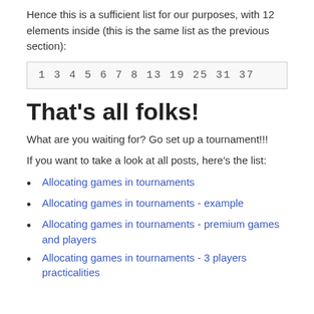Hence this is a sufficient list for our purposes, with 12 elements inside (this is the same list as the previous section):
[Figure (other): Code/data box showing the list: 1 3 4 5 6 7 8 13 19 25 31 37]
That’s all folks!
What are you waiting for? Go set up a tournament!!!
If you want to take a look at all posts, here’s the list:
Allocating games in tournaments
Allocating games in tournaments - example
Allocating games in tournaments - premium games and players
Allocating games in tournaments - 3 players practicalities